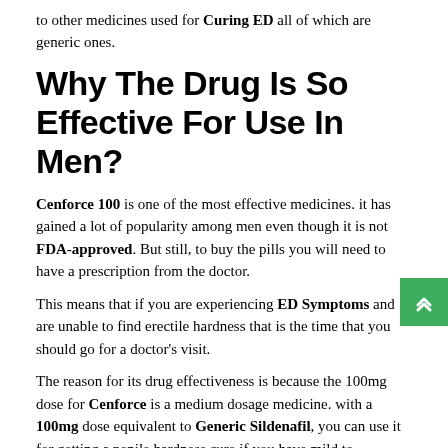to other medicines used for Curing ED all of which are generic ones.
Why The Drug Is So Effective For Use In Men?
Cenforce 100 is one of the most effective medicines. it has gained a lot of popularity among men even though it is not FDA-approved. But still, to buy the pills you will need to have a prescription from the doctor.
This means that if you are experiencing ED Symptoms and are unable to find erectile hardness that is the time that you should go for a doctor's visit.
The reason for its drug effectiveness is because the 100mg dose for Cenforce is a medium dosage medicine. with a 100mg dose equivalent to Generic Sildenafil, you can use it for getting a penile hardness cure if you have mild to moderate levels of severity of the ED disorder.